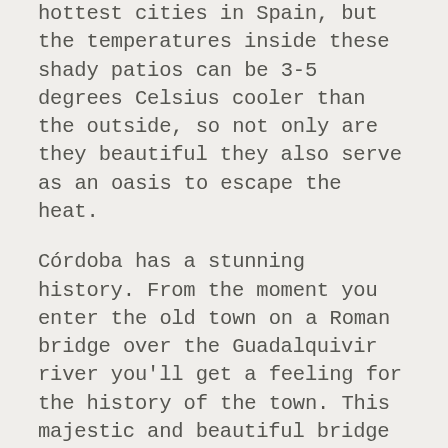hottest cities in Spain, but the temperatures inside these shady patios can be 3-5 degrees Celsius cooler than the outside, so not only are they beautiful they also serve as an oasis to escape the heat.
Córdoba has a stunning history. From the moment you enter the old town on a Roman bridge over the Guadalquivir river you'll get a feeling for the history of the town. This majestic and beautiful bridge has been standing for over 2,000 years! The bridge leads you directly to the mosque of Córdoba. I think it is the gem of Arab architectonic heritage in our country. Its design is truly spectacular: the entire roof is supported by arches with hundreds of columns which make it seem as though the roof is floating above the columns.